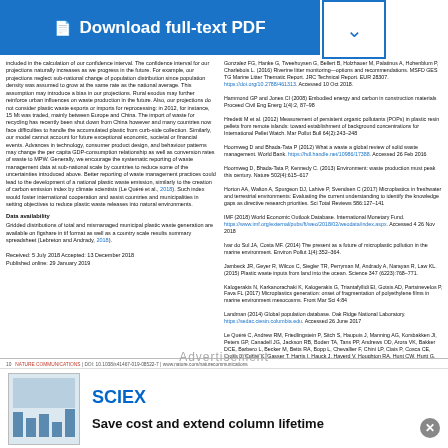[Figure (other): Download full-text PDF button bar in blue with chevron dropdown box]
included in the calculation of our confidence interval. The confidence interval for our projections naturally increases as we progress in the future. For example, our projections neglect sub-national change of population distribution since population density was assumed to grow at the same rate as the national average. This assumption may introduce a bias in our projections. Rural exodus may further reinforce urban influences on waste production in the future. Also, our projections do not consider plastic waste exports or imports for reprocessing: in 2012, for instance, 15 Mt was traded, mainly between Europe and China. The import of waste for recycling has recently been shut down from China however and many countries now face difficulties to handle the accumulated plastic from curb-side collection. Similarly, our model cannot account for future exceptional economic, societal or financial events. Advances in technology, consumer product design, and behaviour patterns may change the per capita GDP-consumption relationship as well as conversion rates of waste to MPW. Generally, we encourage the systematic reporting of waste management data at sub-national scale by countries to reduce some of the uncertainties introduced above. Better reporting of waste management practices could lead to the development of a national plastic waste emission, similarly to the creation of carbon emission index by climate scientists (Le Quéré et al., 2018). Such index would foster international cooperation and assist countries and municipalities in setting objectives to reduce plastic waste releases into natural environments.
Data availability
Gridded distributions of total and mismanaged municipal plastic waste generation are available on figshare in tif format as well as a country scale results summary spreadsheet (Lebreton and Andrady, 2018).
Received: 5 July 2018 Accepted: 13 December 2018
Published online: 29 January 2019
10   NATURE COMMUNICATIONS | DOI: 10.1038/s41467-019-08522-7 | www.nature.com/naturecommunications
References (right column): Gonzalez FG, Hanke G, Tweehuysen G, Bellert B, Holzhauer M, Palatinus A, Hohenblum P, Charlebois L. (2016) Riverine litter monitoring—options and recommendations. MSFD GES TG Marine Litter Thematic Report. JRC Technical Report. EUR 28307. https://doi.org/10.2788/461313. Accessed 10 Oct 2018.
Hammond GP and Jones CI (2008) Embodied energy and carbon in construction materials Proceed Civil Eng Energ 1(4):2, 87–98
Hredetti M et al. (2012) Measurement of persistent organic pollutants (POPs) in plastic resin pellets from remote islands: toward establishment of background concentrations for International Pellet Watch. Mar Pollut Bull 64(2):243–248
Hoornweg D and Bhada-Tata P (2012) What a waste a global review of solid waste management. World Bank. https://hdl.handle.net/10986/17388. Accessed 26 Feb 2016
Hoornweg D, Bhada-Tata P, Kennedy C. (2013) Environment: waste production must peak this century. Nature 502(4):615–617
Horton AA, Walton A, Spurgeon DJ, Lahive P, Svendsen C (2017) Microplastics in freshwater and terrestrial environments: Evaluating the current understanding to identify the knowledge gaps as directive research priorities. Sci Total Reviews 586:127–141
IMF (2018) World Economic Outlook Database. International Monetary Fund. https://www.imf.org/external/pubs/ft/weo/2018/02/weodata/index.aspx. Accessed 4 26 Nov 2018
Ivar do Sul JA, Costa MF. (2014) The present as a future of microplastic pollution in the marine environment. Environ Pollut 1(4):352–364.
Jambeck JR, Geyer R, Wilcox C, Siegler TR, Perryman M, Andrady A, Narayan R, Law KL. (2015) Plastic waste inputs from land into the ocean. Science 347 (6223):768–771.
Kalogerakis N, Karkanorachaki K, Kalogerakis G, Triantafyllidi EI, Gotsis AD, Partsinevelos P, Fava FL (2017) Microplastics generation: onset of fragmentation of polyethylene films in marine environment mesocosms. Front Mar Sci 4:84
Landman (2014) Global population database. Oak Ridge National Laboratory. https://sedac.ciesin.columbia.edu. Accessed 26 June 2017
Le Quéré C, Andrew RM, Friedlingstein P, Sitch S, Haupuis J, Manning AG, Korsbakken JI, Peters GP, Canadell JG, Jackson RB, Boden TA, Tans PP, Andrews OD, Arora VK, Bakker DCE, Barbero L, Becker M, Betts RA, Bopp L, Chevallier F, Chini LP, Ciais P, Cosca CE, Cross J, Currie K, Gasser T, Harris I, Hauck J, Haverd V, Houghton RA, Hunt CW, Hurtt G, Ilyina T, Jain AK, Kato E, Kautz M, Keeling RF, Klein Goldewijk K, Körtzinger A, Landschützer P, Lefèvre N, Lenton A, Lienert S, Lima I, Lombardozzi D, Metzl N, Millero F, Monteiro PMS, Munro DR, Nabel JEMS, Nakaoka S-I, Nojiri Y, Padín XA, Peregon A, Pfeil B, Pierrot D, Poulter B, Rehder G, Reimer J, Rödenbeck C, Schwinger J, Séférian R, Skjelvan I, Stocker BD, Tian H,
Advertisement
[Figure (logo): SCIEX company logo in blue text]
Save cost and extend column lifetime